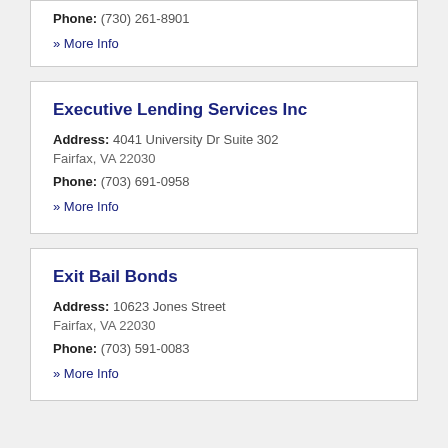Phone: (730) 261-8901
» More Info
Executive Lending Services Inc
Address: 4041 University Dr Suite 302 Fairfax, VA 22030
Phone: (703) 691-0958
» More Info
Exit Bail Bonds
Address: 10623 Jones Street Fairfax, VA 22030
Phone: (703) 591-0083
» More Info